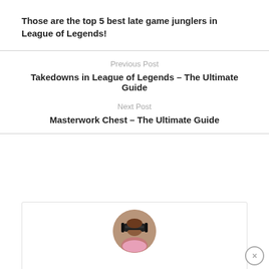Those are the top 5 best late game junglers in League of Legends!
Previous Post
Takedowns in League of Legends – The Ultimate Guide
Next Post
Masterwork Chest – The Ultimate Guide
[Figure (photo): Circular author avatar photo showing a person wearing sunglasses and headphones]